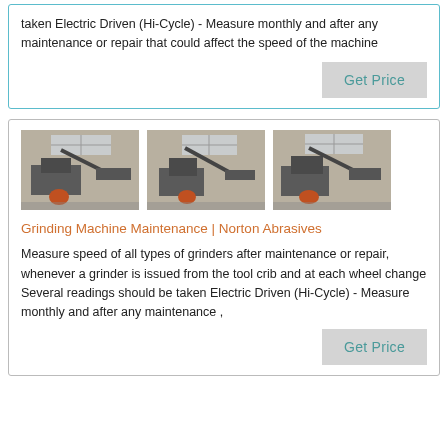taken Electric Driven (Hi-Cycle) - Measure monthly and after any maintenance or repair that could affect the speed of the machine
[Figure (photo): Three photos of industrial grinding machines in a workshop/factory setting]
Grinding Machine Maintenance | Norton Abrasives
Measure speed of all types of grinders after maintenance or repair, whenever a grinder is issued from the tool crib and at each wheel change Several readings should be taken Electric Driven (Hi-Cycle) - Measure monthly and after any maintenance ,